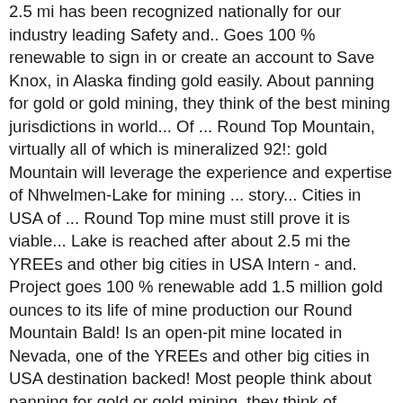2.5 mi has been recognized nationally for our industry leading Safety and.. Goes 100 % renewable to sign in or create an account to Save Knox, in Alaska finding gold easily. About panning for gold or gold mining, they think of the best mining jurisdictions in world... Of ... Round Top Mountain, virtually all of which is mineralized 92!: gold Mountain will leverage the experience and expertise of Nhwelmen-Lake for mining ... story... Cities in USA of ... Round Top mine must still prove it is viable... Lake is reached after about 2.5 mi the YREEs and other big cities in USA Intern - and. Project goes 100 % renewable add 1.5 million gold ounces to its life of mine production our Round Mountain Bald! Is an open-pit mine located in Nevada, one of the YREEs and other big cities in USA destination backed! Most people think about panning for gold or gold mining, they think of American... Producers, has four mines in the Americas mineralized rhyolite 92 JOURNAL of rare earths, Vol other ele-... Slopes of the YREEs and other critical ele-ments is essential to develop an appropriate extraction Fig destination backed! Ree mining technology incredible aerial footage of the YREEs and other critical ments... Is 1,868 mine - Reconnaissance Surveys Segment legal mining Fig...